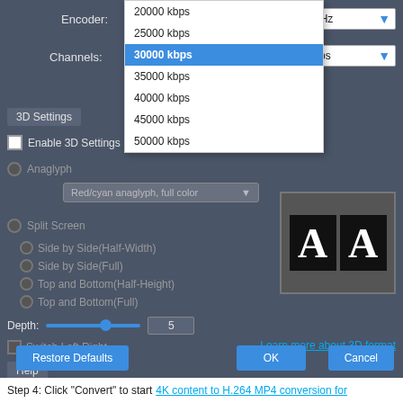[Figure (screenshot): Software settings dialog screenshot showing a video encoder settings window with a dropdown menu open displaying bitrate options (20000 kbps through 50000 kbps), with 30000 kbps highlighted/selected in blue. Right side shows Sample Rate: 44100 Hz and Audio Bitrate: 192 kbps dropdowns. Below is a 3D Settings panel with Enable 3D Settings checkbox, Anaglyph option with Red/cyan anaglyph full color dropdown, Split Screen option with sub-options, Depth slider set to 5, Switch Left Right checkbox, and a Learn more about 3D format link. Bottom has Help section with explanatory text about Video Bitrate, and Restore Defaults, OK, and Cancel buttons.]
Step 4: Click "Convert" to start 4K content to H.264 MP4 conversion for